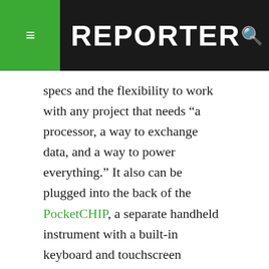REPORTER
specs and the flexibility to work with any project that needs “a processor, a way to exchange data, and a way to power everything.” It also can be plugged into the back of the PocketCHIP, a separate handheld instrument with a built-in keyboard and touchscreen monitor, to use on the go.
The Pi Zero is one of the newest members of the Raspberry Pi computer family. Like the CHIP, it is essentially a fully functional computer, and owners may build or buy their own compact enclosures with a monitor and keyboard like the PocketCHIP for them.
Like its contemporaries, the credit card-sized Arduboy is also made with user-developed content in mind. The